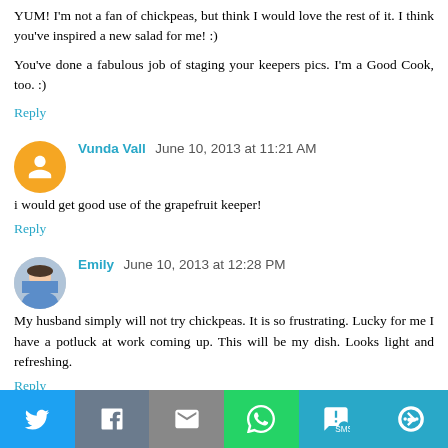YUM! I'm not a fan of chickpeas, but think I would love the rest of it. I think you've inspired a new salad for me! :)
You've done a fabulous job of staging your keepers pics. I'm a Good Cook, too. :)
Reply
Vunda Vall  June 10, 2013 at 11:21 AM
i would get good use of the grapefruit keeper!
Reply
Emily  June 10, 2013 at 12:28 PM
My husband simply will not try chickpeas. It is so frustrating. Lucky for me I have a potluck at work coming up. This will be my dish. Looks light and refreshing.
Reply